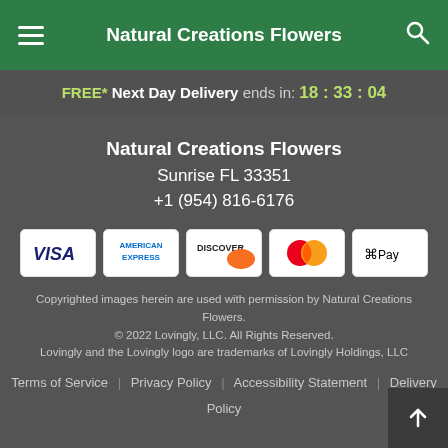Natural Creations Flowers
FREE* Next Day Delivery ends in: 18:33:04
Natural Creations Flowers
Sunrise FL 33351
+1 (954) 816-6176
[Figure (logo): Payment method icons: Visa, American Express, Discover, Mastercard, Apple Pay]
Copyrighted images herein are used with permission by Natural Creations Flowers.
© 2022 Lovingly, LLC. All Rights Reserved.
Lovingly and the Lovingly logo are trademarks of Lovingly Holdings, LLC
Terms of Service | Privacy Policy | Accessibility Statement | Delivery Policy